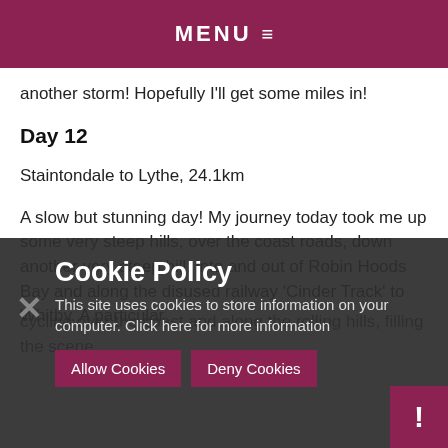MENU ≡
another storm! Hopefully I'll get some miles in!
Day 12
Staintondale to Lythe, 24.1km
A slow but stunning day! My journey today took me up some very steep hills, over the coast roads, down another very steep hill, into and out of Robin Hoods Bay and along the disused railway 'Cinder Track' to Whitby. A particular
cycling over the ... along the coast... filling the scene...
Cookie Policy
This site uses cookies to store information on your computer. Click here for more information
Allow Cookies
Deny Cookies